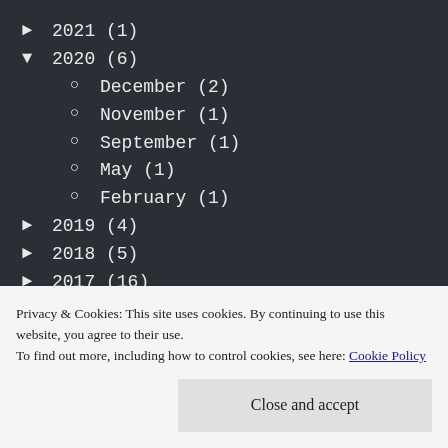► 2021 (1)
▼ 2020 (6)
○ December (2)
○ November (1)
○ September (1)
○ May (1)
○ February (1)
► 2019 (4)
► 2018 (5)
► 2017 (16)
► 2016 (14)
► 2015 (9)
Privacy & Cookies: This site uses cookies. By continuing to use this website, you agree to their use. To find out more, including how to control cookies, see here: Cookie Policy
Close and accept